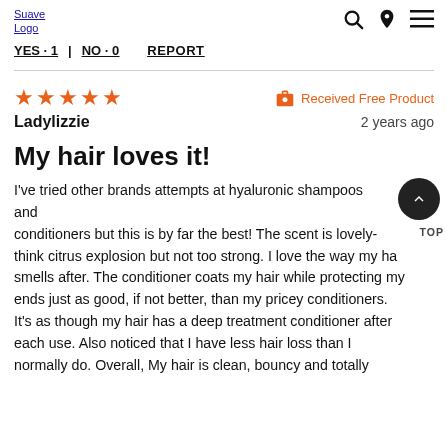Suave Logo | search | location | menu
YES · 1  |  NO · 0  REPORT
★★★★★  Received Free Product
Ladylizzie  2 years ago
My hair loves it!
I've tried other brands attempts at hyaluronic shampoos and conditioners but this is by far the best! The scent is lovely- think citrus explosion but not too strong. I love the way my hair smells after. The conditioner coats my hair while protecting my ends just as good, if not better, than my pricey conditioners. It's as though my hair has a deep treatment conditioner after each use. Also noticed that I have less hair loss than I normally do. Overall, My hair is clean, bouncy and totally hydrated after each use. I am very content with the shampoo and